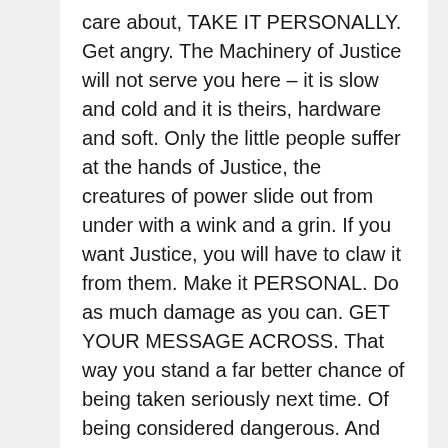care about, TAKE IT PERSONALLY. Get angry. The Machinery of Justice will not serve you here – it is slow and cold and it is theirs, hardware and soft. Only the little people suffer at the hands of Justice, the creatures of power slide out from under with a wink and a grin. If you want Justice, you will have to claw it from them. Make it PERSONAL. Do as much damage as you can. GET YOUR MESSAGE ACROSS. That way you stand a far better chance of being taken seriously next time. Of being considered dangerous. And make no mistake about this, being taken seriously, being considered